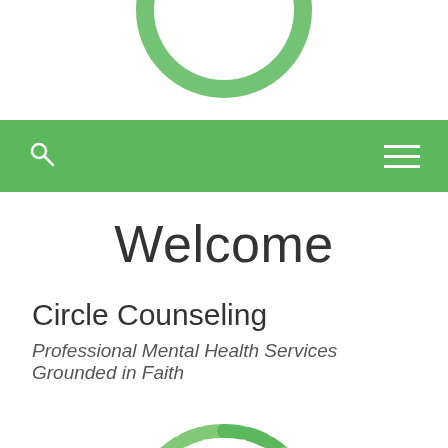[Figure (logo): Partial green circular logo at top, cropped]
Navigation bar with search icon and hamburger menu on green background
Welcome
Circle Counseling
Professional Mental Health Services Grounded in Faith
[Figure (logo): Circle Counseling logo (partial) at bottom, green segmented circle with dark text]